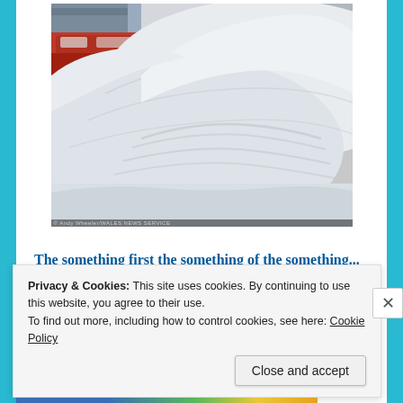[Figure (photo): A large mound of snow piled up next to a red car in a snowy landscape, with buildings visible in the background. Watermark reads: © Andy Wheeler/WALES NEWS SERVICE]
© Andy Wheeler/WALES NEWS SERVICE
The something first the something of the something...
Privacy & Cookies: This site uses cookies. By continuing to use this website, you agree to their use.
To find out more, including how to control cookies, see here: Cookie Policy